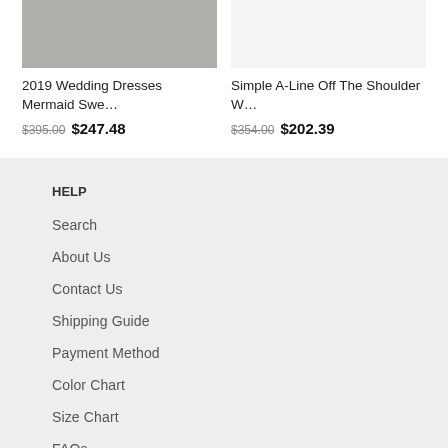[Figure (photo): Product image of a white mermaid wedding dress, partially visible at top]
2019 Wedding Dresses Mermaid Swe…
$395.00 $247.48
[Figure (photo): Product image of a white A-line off the shoulder wedding dress, mostly white/blank area]
Simple A-Line Off The Shoulder W…
$354.00 $202.39
HELP
Search
About Us
Contact Us
Shipping Guide
Payment Method
Color Chart
Size Chart
FAQs